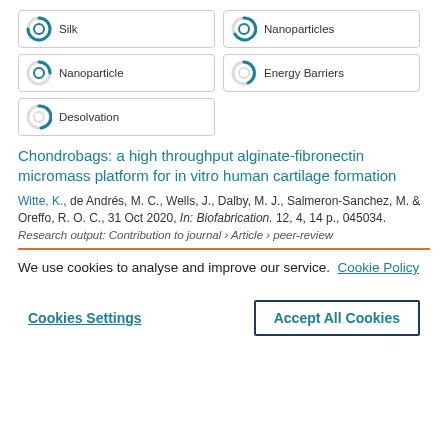Silk
Nanoparticles
Nanoparticle
Energy Barriers
Desolvation
Chondrobags: a high throughput alginate-fibronectin micromass platform for in vitro human cartilage formation
Witte, K., de Andrés, M. C., Wells, J., Dalby, M. J., Salmeron-Sanchez, M. & Oreffo, R. O. C., 31 Oct 2020, In: Biofabrication. 12, 4, 14 p., 045034.
Research output: Contribution to journal › Article › peer-review
We use cookies to analyse and improve our service.  Cookie Policy
Cookies Settings
Accept All Cookies